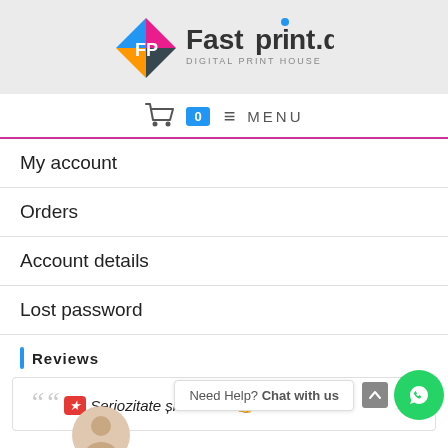[Figure (logo): Fastprint.dk Digital Print House logo with colorful diamond shape and FP letters]
Cart 0 ≡ MENU
My account
Orders
Account details
Lost password
Reviews
❝❝ ⭐ Seriozitate și calitate!👍
Need Help? Chat with us